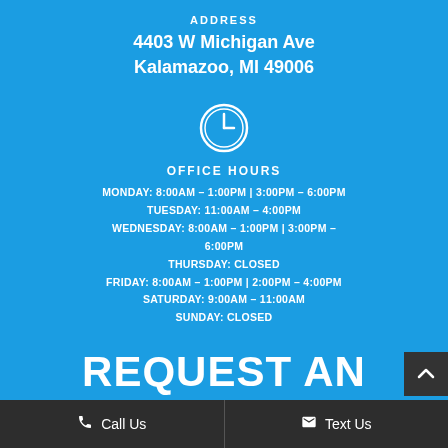ADDRESS
4403 W Michigan Ave
Kalamazoo, MI 49006
[Figure (illustration): Clock icon circle]
OFFICE HOURS
MONDAY: 8:00AM – 1:00PM | 3:00PM – 6:00PM
TUESDAY: 11:00AM – 4:00PM
WEDNESDAY: 8:00AM – 1:00PM | 3:00PM – 6:00PM
THURSDAY: CLOSED
FRIDAY: 8:00AM – 1:00PM | 2:00PM – 4:00PM
SATURDAY: 9:00AM – 11:00AM
SUNDAY: CLOSED
REQUEST AN
Call Us   Text Us